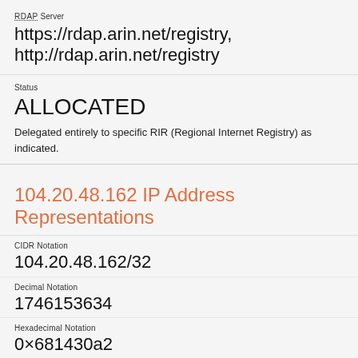RDAP Server
https://rdap.arin.net/registry, http://rdap.arin.net/registry
Status
ALLOCATED
Delegated entirely to specific RIR (Regional Internet Registry) as indicated.
104.20.48.162 IP Address Representations
CIDR Notation
104.20.48.162/32
Decimal Notation
1746153634
Hexadecimal Notation
0x681430a2
Octal Notation
015005030242